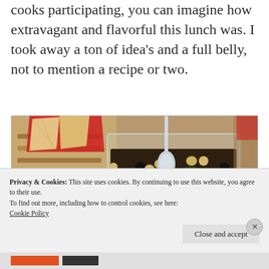cooks participating, you can imagine how extravagant and flavorful this lunch was.  I took away a ton of idea's and a full belly, not to mention a recipe or two.
[Figure (photo): A clear square container filled with a colorful bean salad (black beans, chickpeas, red peppers, and herbs) with a silver spoon. Behind it, a wooden basket with a red liner containing chips or crackers.]
Privacy & Cookies: This site uses cookies. By continuing to use this website, you agree to their use.
To find out more, including how to control cookies, see here:
Cookie Policy